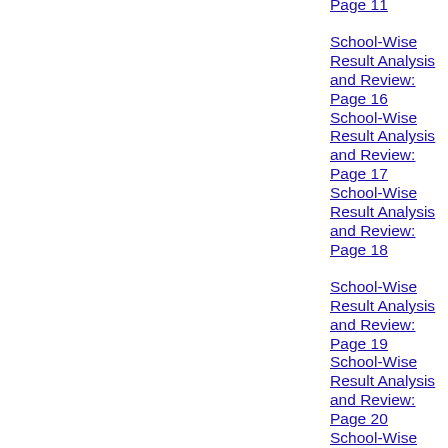Page 11
School-Wise Result Analysis and Review: Page 16 School-Wise Result Analysis and Review: Page 17 School-Wise Result Analysis and Review: Page 18
School-Wise Result Analysis and Review: Page 19 School-Wise Result Analysis and Review: Page 20 School-Wise Result Analysis and Review: Page 21